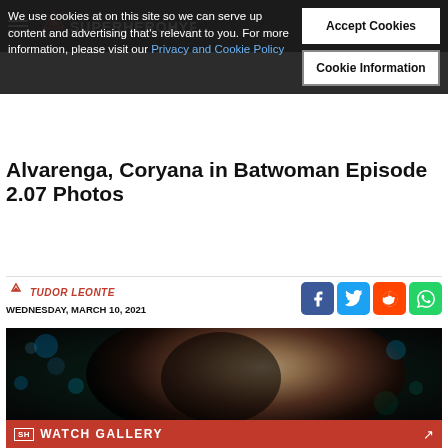SuperHeroHype
We use cookies at on this site so we can serve up content and advertising that's relevant to you. For more information, please visit our Privacy and Cookie Policy
Accept Cookies
Cookie Information
Alvarenga, Coryana in Batwoman Episode 2.07 Photos
TUDOR LEONTE
WEDNESDAY, MARCH 10, 2021
[Figure (photo): Actress smiling, dark hair, bokeh background of blues and greens]
WATCH GALLERY